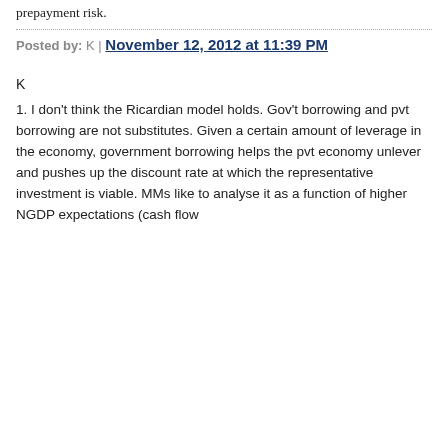prepayment risk.
Posted by: K | November 12, 2012 at 11:39 PM
K
1. I don't think the Ricardian model holds. Gov't borrowing and pvt borrowing are not substitutes. Given a certain amount of leverage in the economy, government borrowing helps the pvt economy unlever and pushes up the discount rate at which the representative investment is viable. MMs like to analyse it as a function of higher NGDP expectations (cash flow